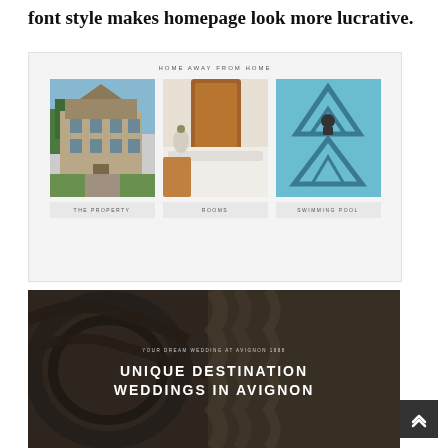font style makes homepage look more lucrative.
[Figure (screenshot): Hotel website screenshot showing 'HOME AWAY FROM HOME' header with three photo panels labeled THE PROPERTY, ROOMS, and SWIMMING POOL]
[Figure (screenshot): Hotel website screenshot showing a dark staircase photo with text 'YOUR DREAM WEDDING AT AVIGNON 1888' and 'UNIQUE DESTINATION WEDDINGS IN AVIGNON']